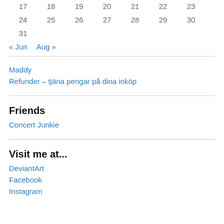17  18  19  20  21  22  23
24  25  26  27  28  29  30
31
« Jun
Aug »
Maddy
Refunder – tjäna pengar på dina inköp
Friends
Concert Junkie
Visit me at...
DeviantArt
Facebook
Instagram